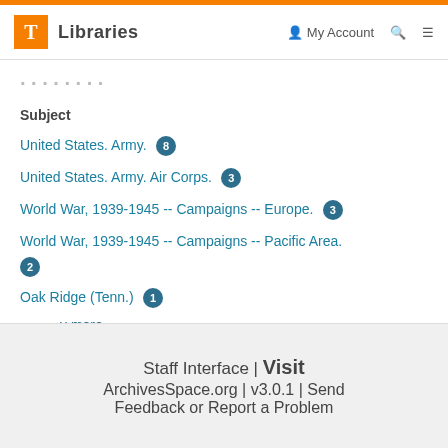T Libraries | My Account | Search | Menu
· · · · · · · ·
Subject
United States. Army. 8
United States. Army. Air Corps. 3
World War, 1939-1945 -- Campaigns -- Europe. 3
World War, 1939-1945 -- Campaigns -- Pacific Area. 2
Oak Ridge (Tenn.) 1
v more
Staff Interface | Visit ArchivesSpace.org | v3.0.1 | Send Feedback or Report a Problem